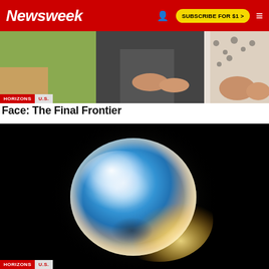Newsweek | SUBSCRIBE FOR $1 >
[Figure (photo): Photo of people sitting together, partially cropped, with HORIZONS and U.S. tags overlaid at bottom left]
Face: The Final Frontier
[Figure (photo): A glowing opalescent sphere or water balloon against a black background, with blue and white iridescent colors. HORIZONS and U.S. tags visible at bottom left.]